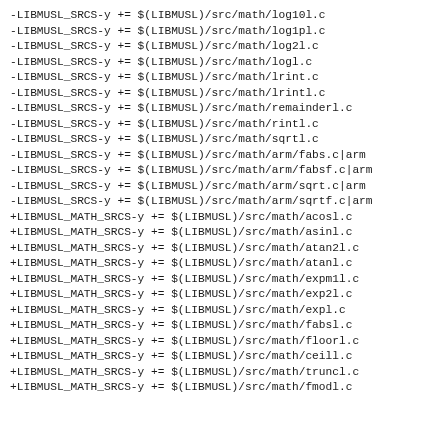-LIBMUSL_SRCS-y += $(LIBMUSL)/src/math/log10l.c
-LIBMUSL_SRCS-y += $(LIBMUSL)/src/math/log1pl.c
-LIBMUSL_SRCS-y += $(LIBMUSL)/src/math/log2l.c
-LIBMUSL_SRCS-y += $(LIBMUSL)/src/math/logl.c
-LIBMUSL_SRCS-y += $(LIBMUSL)/src/math/lrint.c
-LIBMUSL_SRCS-y += $(LIBMUSL)/src/math/lrintl.c
-LIBMUSL_SRCS-y += $(LIBMUSL)/src/math/remainderl.c
-LIBMUSL_SRCS-y += $(LIBMUSL)/src/math/rintl.c
-LIBMUSL_SRCS-y += $(LIBMUSL)/src/math/sqrtl.c
-LIBMUSL_SRCS-y += $(LIBMUSL)/src/math/arm/fabs.c|arm
-LIBMUSL_SRCS-y += $(LIBMUSL)/src/math/arm/fabsf.c|arm
-LIBMUSL_SRCS-y += $(LIBMUSL)/src/math/arm/sqrt.c|arm
-LIBMUSL_SRCS-y += $(LIBMUSL)/src/math/arm/sqrtf.c|arm
+LIBMUSL_MATH_SRCS-y += $(LIBMUSL)/src/math/acosl.c
+LIBMUSL_MATH_SRCS-y += $(LIBMUSL)/src/math/asinl.c
+LIBMUSL_MATH_SRCS-y += $(LIBMUSL)/src/math/atan2l.c
+LIBMUSL_MATH_SRCS-y += $(LIBMUSL)/src/math/atanl.c
+LIBMUSL_MATH_SRCS-y += $(LIBMUSL)/src/math/expm1l.c
+LIBMUSL_MATH_SRCS-y += $(LIBMUSL)/src/math/exp2l.c
+LIBMUSL_MATH_SRCS-y += $(LIBMUSL)/src/math/expl.c
+LIBMUSL_MATH_SRCS-y += $(LIBMUSL)/src/math/fabsl.c
+LIBMUSL_MATH_SRCS-y += $(LIBMUSL)/src/math/floorl.c
+LIBMUSL_MATH_SRCS-y += $(LIBMUSL)/src/math/ceill.c
+LIBMUSL_MATH_SRCS-y += $(LIBMUSL)/src/math/truncl.c
+LIBMUSL_MATH_SRCS-y += $(LIBMUSL)/src/math/fmodl.c